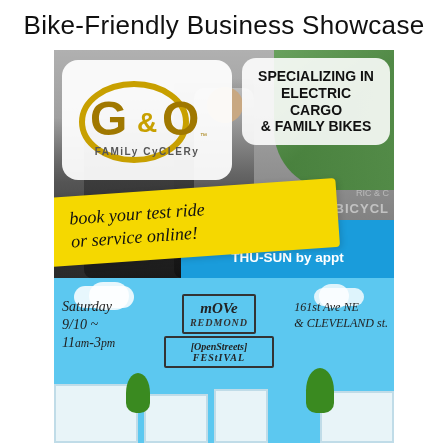Bike-Friendly Business Showcase
[Figure (infographic): G&O Family Cyclery promotional flyer with photo of people at a bike shop, logo, text 'Specializing in Electric Cargo & Family Bikes', yellow banner 'book your test ride or service online!', hours MON-WED 11-5, THU-SUN by appt, and event section showing Move Redmond Open Streets Festival, Saturday 9/10, 11am-3pm, 161st Ave NE & Cleveland St.]